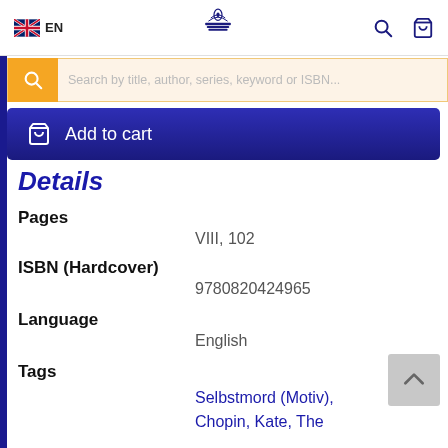EN — header with logo, search, cart icons
Search by title, author, series, keyword or ISBN...
Add to cart
Details
Pages
VIII, 102
ISBN (Hardcover)
9780820424965
Language
English
Tags
Selbstmord (Motiv),
Chopin, Kate, The